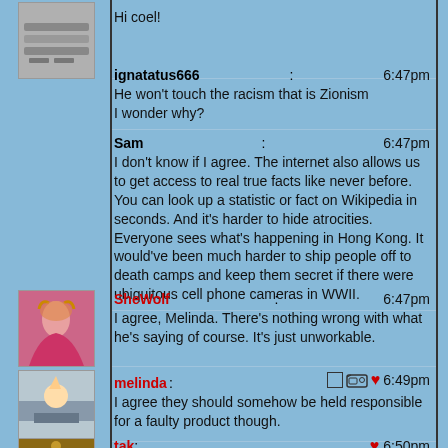Hi coel!
ignatatus666: 6:47pm
He won't touch the racism that is Zionism I wonder why?
Sam: 6:47pm
I don't know if I agree. The internet also allows us to get access to real true facts like never before. You can look up a statistic or fact on Wikipedia in seconds. And it's harder to hide atrocities. Everyone sees what's happening in Hong Kong. It would've been much harder to ship people off to death camps and keep them secret if there were ubiquitous cell phone cameras in WWII.
SheWolf: 6:47pm
I agree, Melinda. There's nothing wrong with what he's saying of course. It's just unworkable.
melinda: 6:49pm
I agree they should somehow be held responsible for a faulty product though.
tak: 6:50pm